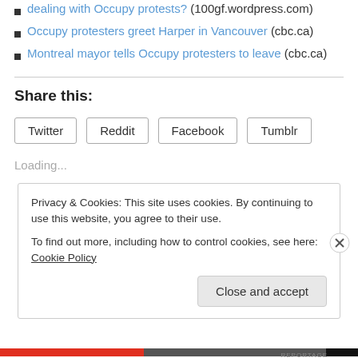dealing with Occupy protests? (100gf.wordpress.com)
Occupy protesters greet Harper in Vancouver (cbc.ca)
Montreal mayor tells Occupy protesters to leave (cbc.ca)
Share this:
Twitter  Reddit  Facebook  Tumblr
Loading...
Privacy & Cookies: This site uses cookies. By continuing to use this website, you agree to their use. To find out more, including how to control cookies, see here: Cookie Policy
Close and accept